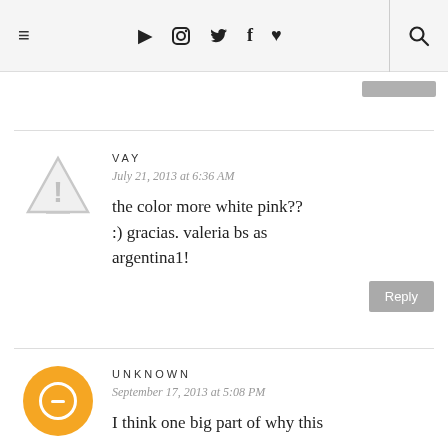≡ ▶ 📷 🐦 f ♥ 🔍
[Figure (illustration): Warning triangle icon (gray, caution symbol) used as avatar for user VAY]
VAY
July 21, 2013 at 6:36 AM
the color more white pink?? :) gracias. valeria bs as argentina1!
Reply
[Figure (illustration): Orange circle with white equals/dash icon used as avatar for user UNKNOWN (Blogger icon)]
UNKNOWN
September 17, 2013 at 5:08 PM
I think one big part of why this